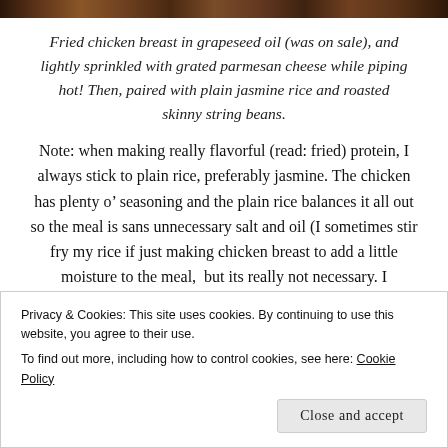[Figure (photo): Top strip showing a food photo — fried chicken, appears to be a close-up of browned/crispy chicken pieces.]
Fried chicken breast in grapeseed oil (was on sale), and lightly sprinkled with grated parmesan cheese while piping hot! Then, paired with plain jasmine rice and roasted skinny string beans.
Note: when making really flavorful (read: fried) protein, I always stick to plain rice, preferably jasmine. The chicken has plenty o’ seasoning and the plain rice balances it all out so the meal is sans unnecessary salt and oil (I sometimes stir fry my rice if just making chicken breast to add a little moisture to the meal, but its really not necessary. I
Privacy & Cookies: This site uses cookies. By continuing to use this website, you agree to their use.
To find out more, including how to control cookies, see here: Cookie Policy
Close and accept